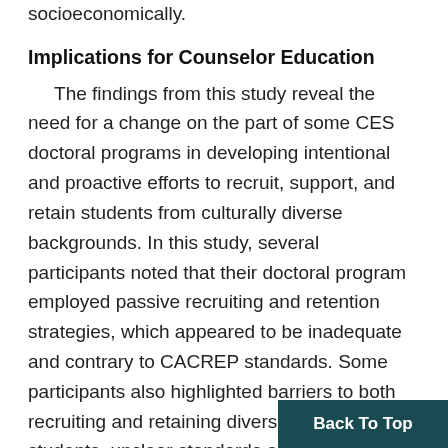socioeconomically.
Implications for Counselor Education
The findings from this study reveal the need for a change on the part of some CES doctoral programs in developing intentional and proactive efforts to recruit, support, and retain students from culturally diverse backgrounds. In this study, several participants noted that their doctoral program employed passive recruiting and retention strategies, which appeared to be inadequate and contrary to CACREP standards. Some participants also highlighted barriers to both recruiting and retaining diverse doctoral students, unclear standards and faculty attitudes and